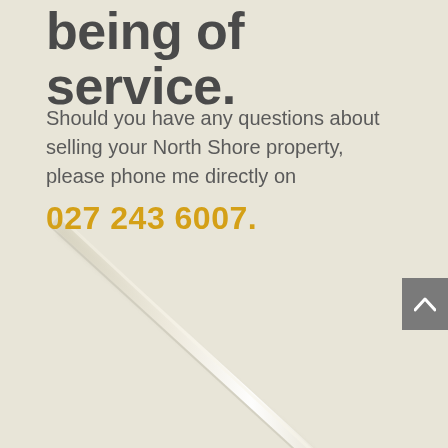being of service.
Should you have any questions about selling your North Shore property, please phone me directly on
027 243 6007.
[Figure (photo): Diagonal pen or metallic rod across a cream/beige background, oriented from upper-left to lower-right]
[Figure (other): Grey scroll-to-top button with white upward chevron arrow, positioned at right edge]